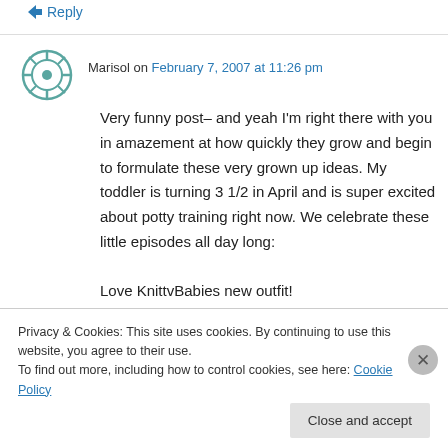↳ Reply
[Figure (illustration): Teal/green decorative avatar icon with geometric/floral pattern]
Marisol on February 7, 2007 at 11:26 pm
Very funny post– and yeah I'm right there with you in amazement at how quickly they grow and begin to formulate these very grown up ideas. My toddler is turning 3 1/2 in April and is super excited about potty training right now. We celebrate these little episodes all day long:

Love KnittvBabies new outfit!
Privacy & Cookies: This site uses cookies. By continuing to use this website, you agree to their use.
To find out more, including how to control cookies, see here: Cookie Policy